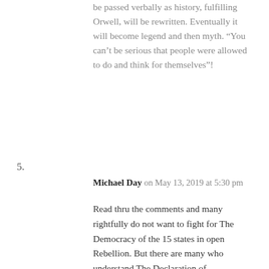be passed verbally as history, fulfilling Orwell, will be rewritten. Eventually it will become legend and then myth. “You can’t be serious that people were allowed to do and think for themselves”!
5.
Michael Day on May 13, 2019 at 5:30 pm
Read thru the comments and many rightfully do not want to fight for The Democracy of the 15 states in open Rebellion. But there are many who understand The Declaration of Independence and the Constitution of The REPUBLIC OF THE UNITED STATES . Last count 65 million, ability to become Winter soldiers all of us. A jap in WW2 knew a simple truth there would be a Riflemen